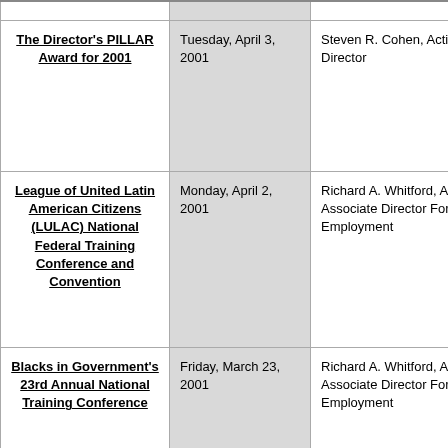| Event | Date | Speaker/Presenter |
| --- | --- | --- |
| The Director's PILLAR Award for 2001 | Tuesday, April 3, 2001 | Steven R. Cohen, Acting Director |
| League of United Latin American Citizens (LULAC) National Federal Training Conference and Convention | Monday, April 2, 2001 | Richard A. Whitford, Acting Associate Director For Employment |
| Blacks in Government's 23rd Annual National Training Conference | Friday, March 23, 2001 | Richard A. Whitford, Acting Associate Director For Employment |
| Point(s) of ... | Thursday, ... | Richard A. ... |